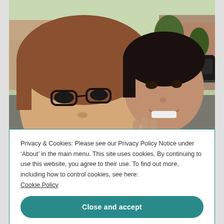[Figure (photo): Outdoor selfie of two women smiling. The woman on the left has glasses and shoulder-length brown hair. The woman on the right is wearing a purple shirt and holding up three fingers. They are in front of a residential street with trees, parked cars, and brick buildings in the background.]
Privacy & Cookies: Please see our Privacy Policy Notice under ‘About’ in the main menu. This site uses cookies. By continuing to use this website, you agree to their use. To find out more, including how to control cookies, see here: Cookie Policy
Close and accept